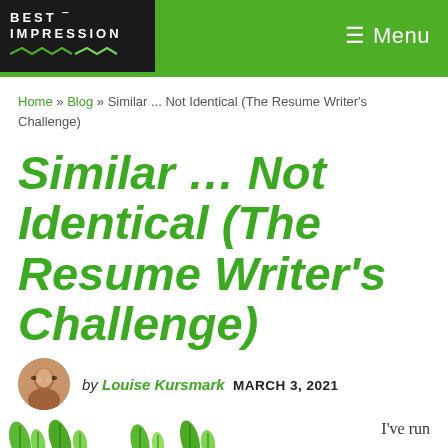BEST IMPRESSION | Menu
Home » Blog » Similar ... Not Identical (The Resume Writer's Challenge)
Similar … Not Identical (The Resume Writer's Challenge)
by Louise Kursmark  MARCH 3, 2021
I've run